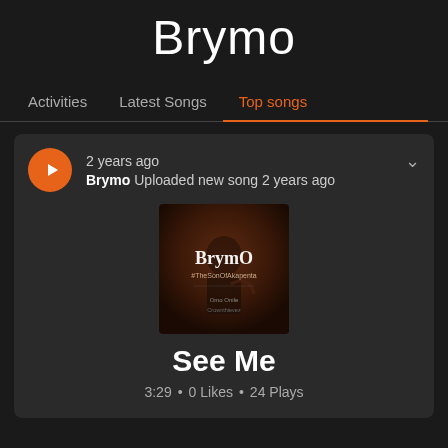Brymo
Activities | Latest Songs | Top songs
2 years ago
Brymo Uploaded new song 2 years ago
[Figure (photo): Album art for Brymo #TheSonOfAkapenta showing an artist with guitar in dark tones]
See Me
3:29 • 0 Likes • 24 Plays